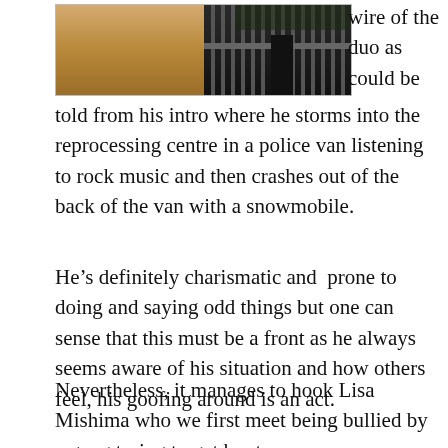[Figure (photo): A photo showing a scene with a warm-toned wooden floor on the left and dark metal bars/gate on the right side with a dark-clothed figure visible]
wire of the duo as could be told from his intro where he storms into the reprocessing centre in a police van listening to rock music and then crashes out of the back of the van with a snowmobile.
He’s definitely charismatic and  prone to doing and saying odd things but one can sense that this must be a front as he always seems aware of his situation and how others feel, his goofing around is an act.
Nevertheless, it manages to hook Lisa Mishima who we first meet being bullied by a gang trying to get her to